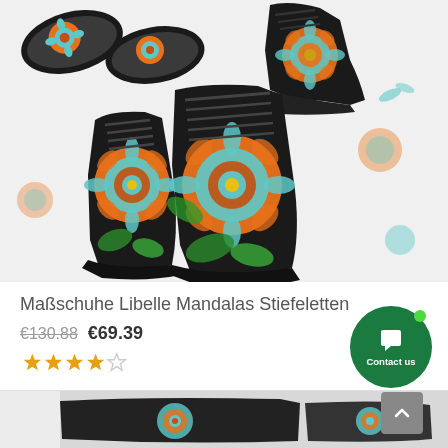[Figure (photo): Product image collage showing mandala-patterned ankle boots/booties from multiple angles: top-left showing sole views, top-right showing side profile, and center showing a main full pair of lace-up boots with colorful teal, orange, and red floral mandala pattern on black sole]
Maßschuhe Libelle Mandalas Stiefeletten
€130.88 €69.39
[Figure (other): Star rating showing approximately 4 out of 5 stars (4 filled/colored stars and 1 empty star)]
[Figure (photo): Partial product image at bottom showing sole/bottom of mandala-patterned boots in a box or packaging, with white tissue paper visible]